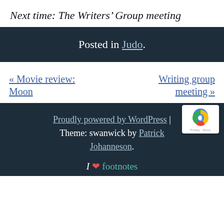Next time: The Writers' Group meeting
Posted in Judo.
« Movie review: Moon
Writing group meeting »
Proudly powered by WordPress | Theme: swanwick by Patrick Johanneson.
I ♥ footnotes